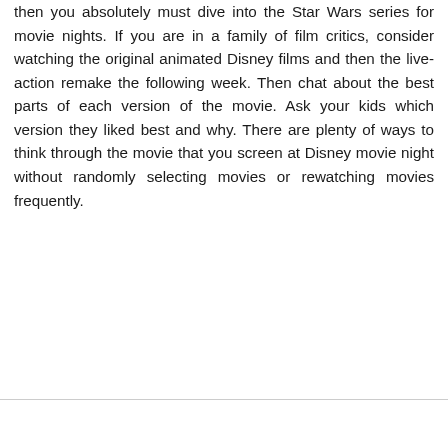then you absolutely must dive into the Star Wars series for movie nights. If you are in a family of film critics, consider watching the original animated Disney films and then the live-action remake the following week. Then chat about the best parts of each version of the movie. Ask your kids which version they liked best and why. There are plenty of ways to think through the movie that you screen at Disney movie night without randomly selecting movies or rewatching movies frequently.